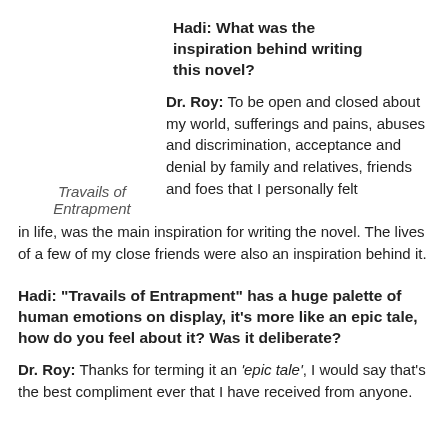Hadi: What was the inspiration behind writing this novel?
Dr. Roy: To be open and closed about my world, sufferings and pains, abuses and discrimination, acceptance and denial by family and relatives, friends and foes that I personally felt in life, was the main inspiration for writing the novel. The lives of a few of my close friends were also an inspiration behind it.
Travails of Entrapment
Hadi: “Travails of Entrapment” has a huge palette of human emotions on display, it’s more like an epic tale, how do you feel about it? Was it deliberate?
Dr. Roy: Thanks for terming it an ‘epic tale’, I would say that’s the best compliment ever that I have received from anyone.